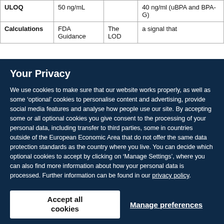|  | Col1 | Col2 | Col3 |
| --- | --- | --- | --- |
| ULOQ | 50 ng/mL |  | 40 ng/ml (uBPA and BPA-G) |
| Calculations | FDA Guidance | The LOD | a signal that |
Your Privacy
We use cookies to make sure that our website works properly, as well as some ‘optional’ cookies to personalise content and advertising, provide social media features and analyse how people use our site. By accepting some or all optional cookies you give consent to the processing of your personal data, including transfer to third parties, some in countries outside of the European Economic Area that do not offer the same data protection standards as the country where you live. You can decide which optional cookies to accept by clicking on ‘Manage Settings’, where you can also find more information about how your personal data is processed. Further information can be found in our privacy policy.